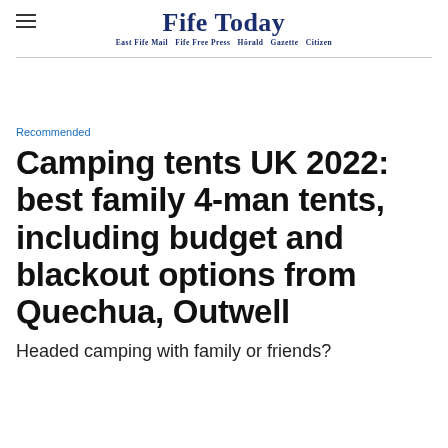Fife Today — East Fife Mail  Fife Free Press  Herald  Gazette  Citizen
Recommended
Camping tents UK 2022: best family 4-man tents, including budget and blackout options from Quechua, Outwell
Headed camping with family or friends?